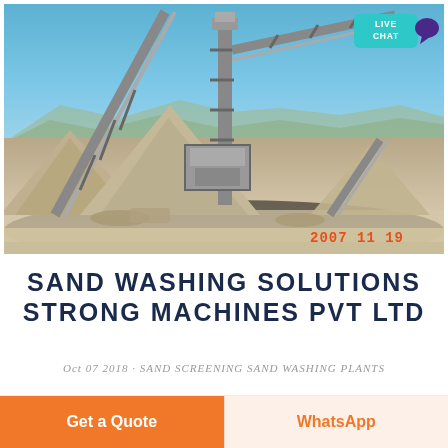[Figure (photo): Outdoor industrial sand washing and screening plant with large conveyor belts, crusher machinery, and sand piles under a blue sky. Timestamp '2007 11 19' in orange at bottom right. Live Chat button overlay in top right corner.]
SAND WASHING SOLUTIONS STRONG MACHINES PVT LTD
Oct 07 2018 · SAND SCREENING SAND WASHING PLANTS
Get a Quote
WhatsApp